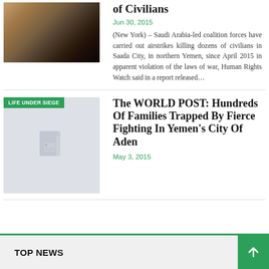[Figure (photo): Burned/destroyed vehicle interior, war damage photo]
of Civilians
Jun 30, 2015
(New York) – Saudi Arabia-led coalition forces have carried out airstrikes killing dozens of civilians in Saada City, in northern Yemen, since April 2015 in apparent violation of the laws of war, Human Rights Watch said in a report released…
[Figure (photo): Placeholder image with LIFE UNDER SIEGE badge overlay, gray background with broken image icon]
The WORLD POST: Hundreds Of Families Trapped By Fierce Fighting In Yemen's City Of Aden
May 3, 2015
TOP NEWS